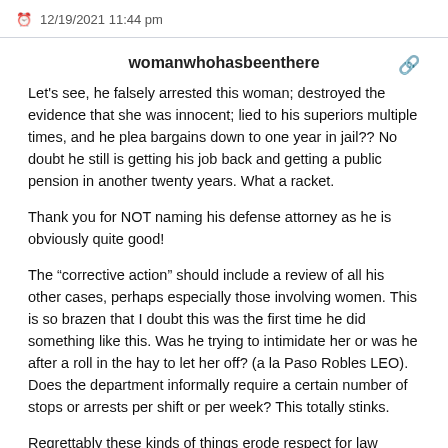12/19/2021 11:44 pm
womanwhohasbeenthere
Let's see, he falsely arrested this woman; destroyed the evidence that she was innocent; lied to his superiors multiple times, and he plea bargains down to one year in jail?? No doubt he still is getting his job back and getting a public pension in another twenty years. What a racket.
Thank you for NOT naming his defense attorney as he is obviously quite good!
The “corrective action” should include a review of all his other cases, perhaps especially those involving women. This is so brazen that I doubt this was the first time he did something like this. Was he trying to intimidate her or was he after a roll in the hay to let her off? (a la Paso Robles LEO). Does the department informally require a certain number of stops or arrests per shift or per week? This totally stinks.
Regrettably these kinds of things erode respect for law enforcement. We don’t know if she was going to work, had kids to pick up from school, had